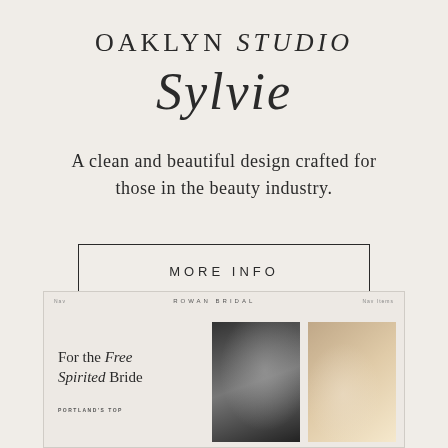OAKLYN STUDIO Sylvie
A clean and beautiful design crafted for those in the beauty industry.
MORE INFO
[Figure (screenshot): Screenshot of a bridal website template showing 'For the Free Spirited Bride' headline with two photos — a black and white veil photo and a warm-toned floral photo — and navigation bar reading 'ROWAN BRIDAL']